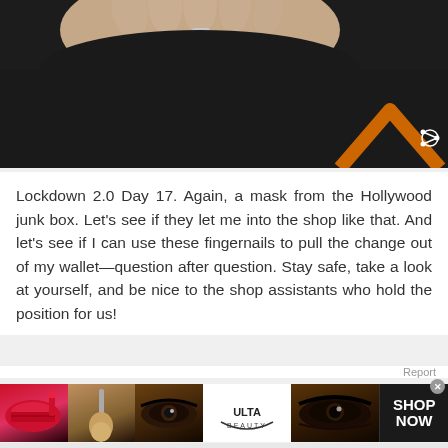[Figure (photo): Photo of a hand with long nails held up against a dark background with an orange chevron/arrow shape visible, and a share icon in the bottom-right corner]
Lockdown 2.0 Day 17. Again, a mask from the Hollywood junk box. Let's see if they let me into the shop like that. And let's see if I can use these fingernails to pull the change out of my wallet—question after question. Stay safe, take a look at yourself, and be nice to the shop assistants who hold the position for us!
[Figure (advertisement): Ulta Beauty advertisement banner showing makeup images (lips, brush, eyes) with Ulta logo and SHOP NOW button]